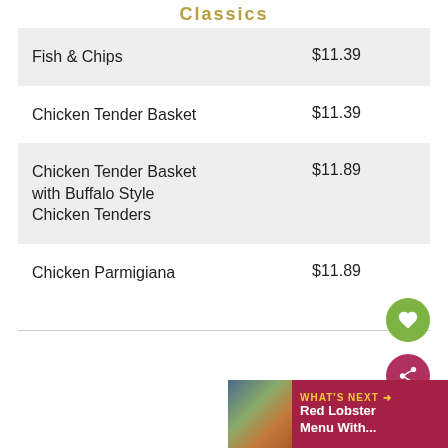Classics
| Item | Price |
| --- | --- |
| Fish & Chips | $11.39 |
| Chicken Tender Basket | $11.39 |
| Chicken Tender Basket with Buffalo Style Chicken Tenders | $11.89 |
| Chicken Parmigiana | $11.89 |
[Figure (other): Green circular heart/favorite FAB button]
[Figure (other): Dark red circular share FAB button]
[Figure (screenshot): What's Next banner showing Red Lobster Menu With... label with restaurant photo thumbnail]